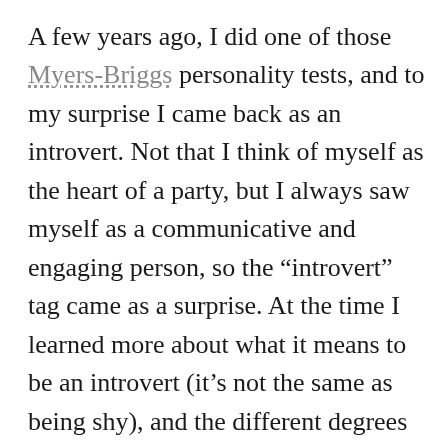A few years ago, I did one of those Myers-Briggs personality tests, and to my surprise I came back as an introvert. Not that I think of myself as the heart of a party, but I always saw myself as a communicative and engaging person, so the “introvert” tag came as a surprise. At the time I learned more about what it means to be an introvert (it’s not the same as being shy), and the different degrees of introversion. I’m definitely not like Verne, and five days alone hiking would be torturous! I have cataloged myself as a “communicative introvert”, someone that thoroughly enjoys the company of others provided I can sometimes take refuge on